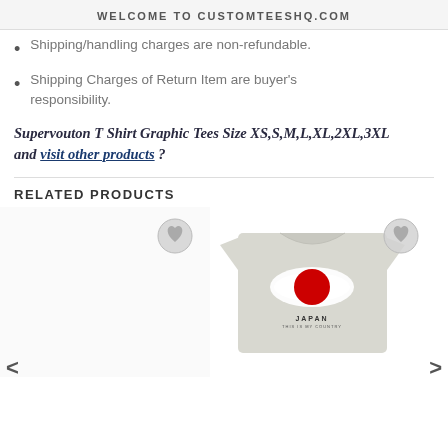WELCOME TO CUSTOMTEESHQ.COM
Shipping/handling charges are non-refundable.
Shipping Charges of Return Item are buyer's responsibility.
Supervouton T Shirt Graphic Tees Size XS,S,M,L,XL,2XL,3XL and visit other products ?
RELATED PRODUCTS
[Figure (photo): Product image area showing a light gray t-shirt with Japan flag design (white brush stroke background with red circle) and text 'JAPAN' below. A wishlist heart button appears in the top right. Navigation arrows on left and right sides.]